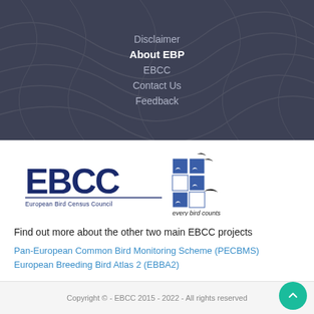Disclaimer
About EBP
EBCC
Contact Us
Feedback
[Figure (logo): EBCC – European Bird Census Council logo with bird silhouettes and tagline 'every bird counts']
Find out more about the other two main EBCC projects
Pan-European Common Bird Monitoring Scheme (PECBMS)
European Breeding Bird Atlas 2 (EBBA2)
Copyright © - EBCC 2015 - 2022 - All rights reserved